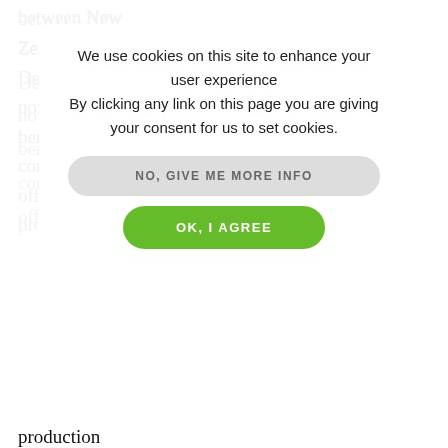between New Zealand... Denmark... now with th... benefits that... come from... official co... production status," commented New Zealand's Minister for Arts, Culture and Heritage Christopher Finlayson.
We use cookies on this site to enhance your user experience
By clicking any link on this page you are giving your consent for us to set cookies.
NO, GIVE ME MORE INFO
OK, I AGREE
production

status,” commented New Zealand’s Minister for Arts, Culture and Heritage Christopher Finlayson.
Added Danish Film Institute head Henrik Bo Nielsen: “We are really pleased to have reached an agreement with New Zealand. It gives us great opportunities for launching new and exciting projects.
“We have similar treaties with Canada and France; this